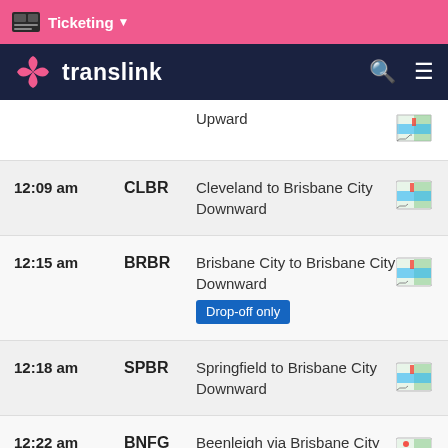Ticketing ▾
translink
Upward
| Time | Code | Route/Direction | Map |
| --- | --- | --- | --- |
| 12:09 am | CLBR | Cleveland to Brisbane City
Downward |  |
| 12:15 am | BRBR | Brisbane City to Brisbane City
Downward
Drop-off only |  |
| 12:18 am | SPBR | Springfield to Brisbane City
Downward |  |
| 12:22 am | BNFG | Beenleigh via Brisbane City to Ferny Grove
Downward |  |